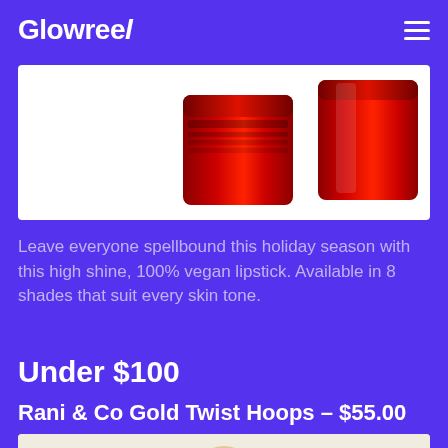Glowreel
[Figure (photo): Two red metallic lipstick tubes photographed from above on a white background]
Leave everyone spellbound this holiday season with this high shine, 100% vegan lipstick. Available in 8 shades that suit every skin tone.
Under $100
Rani & Co Gold Twist Hoops – $55.00
[Figure (photo): Gold twist hoop earrings on a light beige background — partially visible at bottom of page]